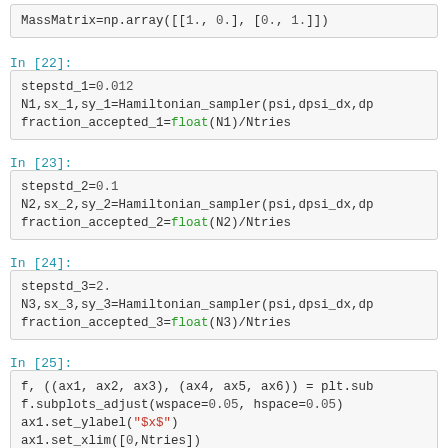MassMatrix=np.array([[1., 0.], [0., 1.]])
In [22]:
stepstd_1=0.012
N1,sx_1,sy_1=Hamiltonian_sampler(psi,dpsi_dx,dp
fraction_accepted_1=float(N1)/Ntries
In [23]:
stepstd_2=0.1
N2,sx_2,sy_2=Hamiltonian_sampler(psi,dpsi_dx,dp
fraction_accepted_2=float(N2)/Ntries
In [24]:
stepstd_3=2.
N3,sx_3,sy_3=Hamiltonian_sampler(psi,dpsi_dx,dp
fraction_accepted_3=float(N3)/Ntries
In [25]:
f, ((ax1, ax2, ax3), (ax4, ax5, ax6)) = plt.sub
f.subplots_adjust(wspace=0.05, hspace=0.05)
ax1.set_ylabel("$x$")
ax1.set_xlim([0,Ntries])